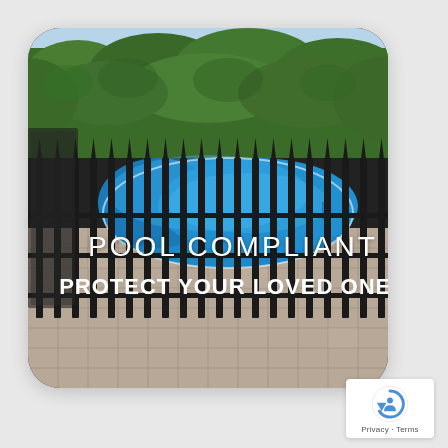[Figure (photo): A backyard swimming pool with a dark wrought-iron ornamental fence in the foreground with spear-top pickets. Behind the fence is a kidney-shaped blue swimming pool with a solar cover, surrounded by stone pavers. A dense green hedge and a house are visible in the background. Text overlaid reads 'POOL COMPLIANT' and 'PROTECT YOUR LOVED ONES'.]
Privacy · Terms